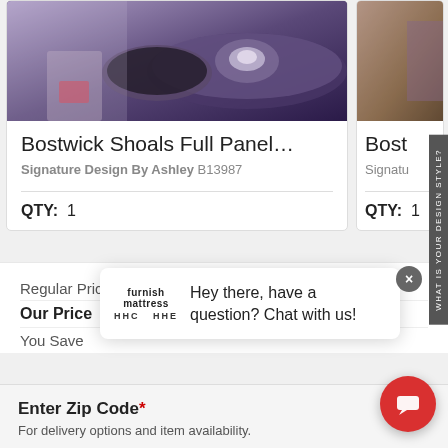[Figure (photo): Purple/dark floral bedding pillow product photo, partial view of second product photo on right]
Bostwick Shoals Full Panel…
Signature Design By Ashley B13987
QTY:  1
QTY:  1
Regular Price
Our Price
You Save
Enter Zip Code* For delivery options and item availability.
[Figure (screenshot): Chat popup overlay with Furnish/Mattress logo and text: Hey there, have a question? Chat with us!]
[Figure (other): Red circular chat button with message icon, bottom right corner]